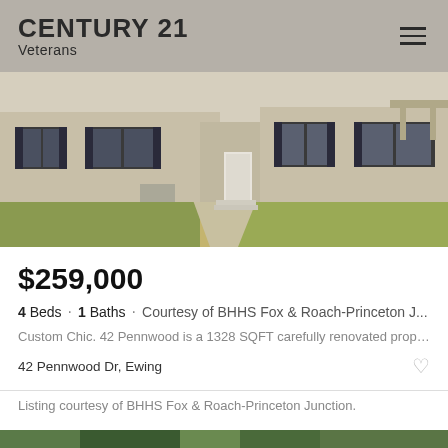CENTURY 21 Veterans
[Figure (photo): Exterior photo of a beige/tan ranch-style house with dark shutters and a front walkway, taken on a sunny day]
$259,000
4 Beds · 1 Baths · Courtesy of BHHS Fox & Roach-Princeton J...
Custom Chic. 42 Pennwood is a 1328 SQFT carefully renovated property with ...
42 Pennwood Dr, Ewing
Listing courtesy of BHHS Fox & Roach-Princeton Junction.
[Figure (photo): Exterior photo partially visible at bottom showing trees and foliage]